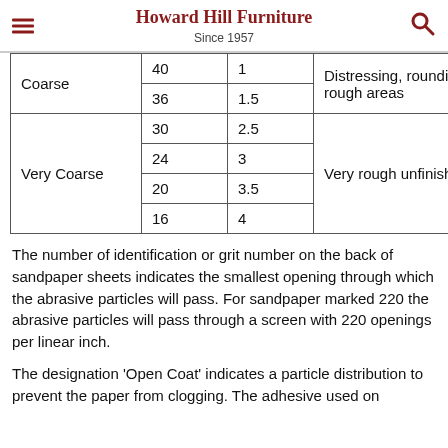Howard Hill Furniture
Since 1957
| Grade | Grit | Micron | Use |
| --- | --- | --- | --- |
| Coarse | 40 | 1 | Distressing, rounding and rough areas |
| Coarse | 36 | 1.5 |  |
| Very Coarse | 30 | 2.5 | Very rough unfinished wood |
| Very Coarse | 24 | 3 | Very rough unfinished wood |
| Very Coarse | 20 | 3.5 | Very rough unfinished wood |
| Very Coarse | 16 | 4 | Very rough unfinished wood |
The number of identification or grit number on the back of sandpaper sheets indicates the smallest opening through which the abrasive particles will pass. For sandpaper marked 220 the abrasive particles will pass through a screen with 220 openings per linear inch.
The designation 'Open Coat' indicates a particle distribution to prevent the paper from clogging. The adhesive used on